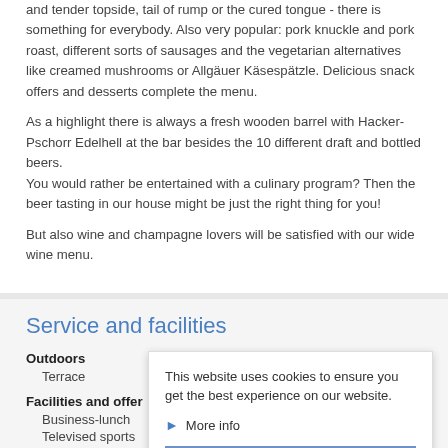and tender topside, tail of rump or the cured tongue - there is something for everybody. Also very popular: pork knuckle and pork roast, different sorts of sausages and the vegetarian alternatives like creamed mushrooms or Allgäuer Käsespätzle. Delicious snack offers and desserts complete the menu.
As a highlight there is always a fresh wooden barrel with Hacker-Pschorr Edelhell at the bar besides the 10 different draft and bottled beers.
You would rather be entertained with a culinary program? Then the beer tasting in our house might be just the right thing for you!
But also wine and champagne lovers will be satisfied with our wide wine menu.
Service and facilities
Outdoors
Terrace
Facilities and offers
Business-lunch
Televised sports
Event venues
Internet
This website uses cookies to ensure you get the best experience on our website.
More info
OK, got it